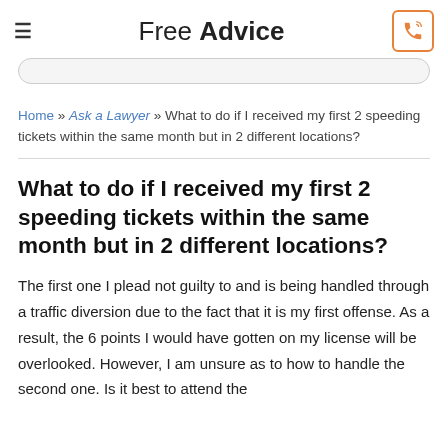Free Advice
Home » Ask a Lawyer » What to do if I received my first 2 speeding tickets within the same month but in 2 different locations?
What to do if I received my first 2 speeding tickets within the same month but in 2 different locations?
The first one I plead not guilty to and is being handled through a traffic diversion due to the fact that it is my first offense. As a result, the 6 points I would have gotten on my license will be overlooked. However, I am unsure as to how to handle the second one. Is it best to attend the